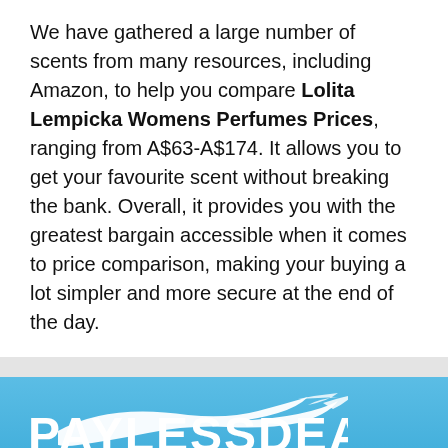We have gathered a large number of scents from many resources, including Amazon, to help you compare Lolita Lempicka Womens Perfumes Prices, ranging from A$63-A$174. It allows you to get your favourite scent without breaking the bank. Overall, it provides you with the greatest bargain accessible when it comes to price comparison, making your buying a lot simpler and more secure at the end of the day.
[Figure (logo): Paylessdeal logo: white bird/fish shape above PAYLESSDEAL text and PRICE COMPARISON SITE subtitle on blue background]
Paylessdeal is Australia's growing comparison shopping service and distributed eCommerce platform that links millions of shoppers